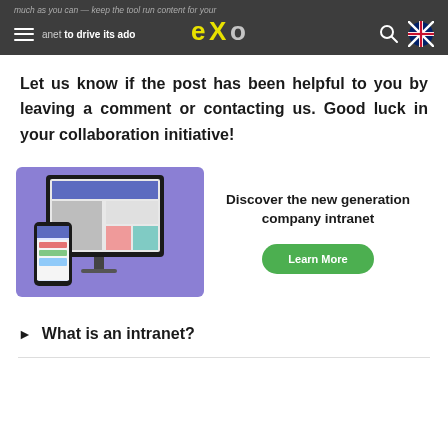much as you can — keep the tool run content for your intranet to drive its adoption
Let us know if the post has been helpful to you by leaving a comment or contacting us. Good luck in your collaboration initiative!
[Figure (screenshot): Screenshot of eXo Platform intranet on desktop and mobile devices with purple background, alongside promotional text 'Discover the new generation company intranet' and a green 'Learn More' button]
What is an intranet?